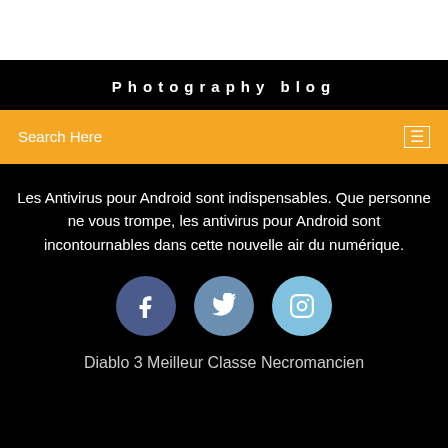[Figure (screenshot): White top area, blank]
Photography blog
Search Here
Les Antivirus pour Android sont indispensables. Que personne ne vous trompe, les antivirus pour Android sont incontournables dans cette nouvelle air du numérique.
[Figure (illustration): Three social media circular icon buttons: Facebook (dark blue), Twitter (medium blue), Instagram (light blue)]
Diablo 3 Meilleur Classe Necromancien